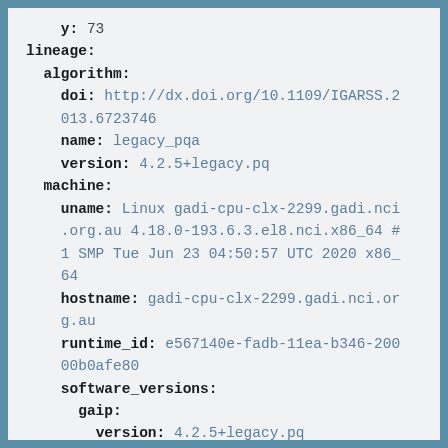y: 73
lineage:
  algorithm:
    doi: http://dx.doi.org/10.1109/IGARSS.2013.6723746
    name: legacy_pqa
    version: 4.2.5+legacy.pq
  machine:
    uname: Linux gadi-cpu-clx-2299.gadi.nci.org.au 4.18.0-193.6.3.el8.nci.x86_64 #1 SMP Tue Jun 23 04:50:57 UTC 2020 x86_64
    hostname: gadi-cpu-clx-2299.gadi.nci.org.au
    runtime_id: e567140e-fadb-11ea-b346-20000b0afe80
    software_versions:
      gaip:
        version: 4.2.5+legacy.pq